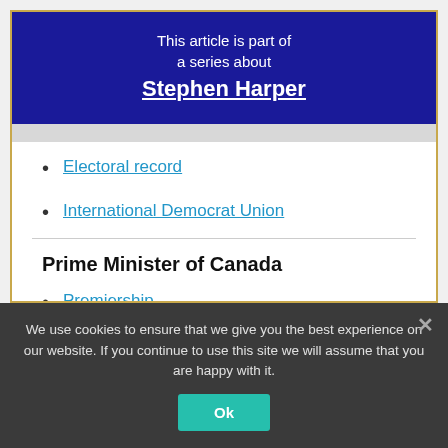This article is part of a series about Stephen Harper
Electoral record
International Democrat Union
Prime Minister of Canada
Premiership
We use cookies to ensure that we give you the best experience on our website. If you continue to use this site we will assume that you are happy with it.